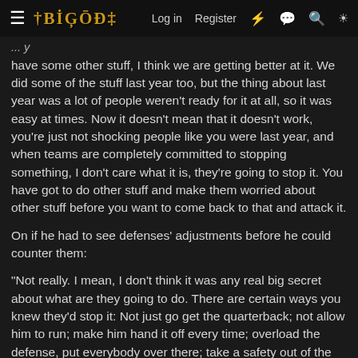≡ IBGF∩DI  Log in  Register
have some other stuff, I think we are getting better at it. We did some of the stuff last year too, but the thing about last year was a lot of people weren't ready for it at all, so it was easy at times. Now it doesn't mean that it doesn't work, you're just not shocking people like you were last year, and when teams are completely committed to stopping something, I don't care what it is, they're going to stop it. You have got to do other stuff and make them worried about other stuff before you want to come back to that and attack it.
On if he had to see defenses' adjustments before he could counter them:
"Not really. I mean, I don't think it was any real big secret about what are they going to do. There are certain ways you knew they'd stop it: Not just go get the quarterback; not allow him to run; make him hand it off every time; overload the defense, put everybody over there; take a safety out of the middle of the field and bring him down so you're outnumbered. There're not too